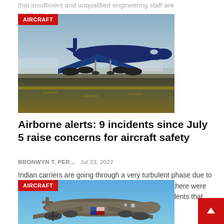that insufficient and unqualified engineering staff are certifying...
[Figure (photo): A large commercial aircraft (blue livery) landing or taking off on a runway, with other planes visible in the background. Red 'AIRCRAFT' badge in top-left corner.]
Airborne alerts: 9 incidents since July 5 raise concerns for aircraft safety
BRONWYN T. PER...    Jul 23, 2022
Indian carriers are going through a very turbulent phase due to several issues lately. Between July 5 and July 21, there were up to nine scary incidents in the air. IANS lists incidents that have raised concerns among Airmen about the...
[Figure (photo): An old military aircraft (WWII-era bomber with American flag markings) against a blue sky. Red 'AIRCRAFT' badge in top-left corner.]